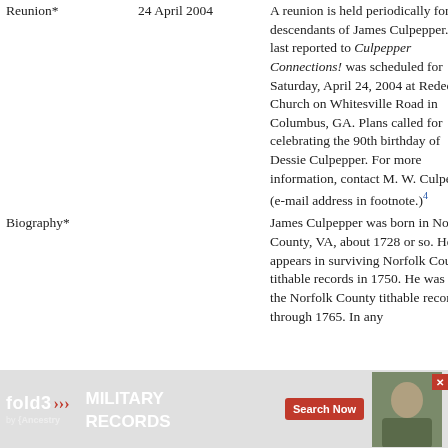| Category | Date | Description |
| --- | --- | --- |
| Reunion* | 24 April 2004 | A reunion is held periodically for the descendants of James Culpepper. The last reported to Culpepper Connections! was scheduled for Saturday, April 24, 2004 at Redeemer Church on Whitesville Road in Columbus, GA. Plans called for celebrating the 90th birthday of Dessie Culpepper. For more information, contact M. W. Culpepper (e-mail address in footnote.)4 |
| Biography* |  | James Culpepper was born in Norfolk County, VA, about 1728 or so. He first appears in surviving Norfolk County tithable records in 1750. He was in the Norfolk County tithable records through 1765. In any |
[Figure (other): Fold3 Military Records advertisement banner with search now button and ancestry branding]